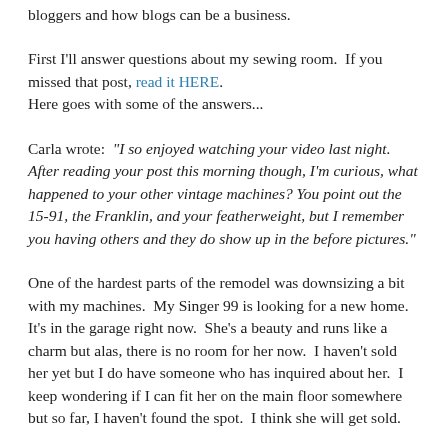bloggers and how blogs can be a business.
First I'll answer questions about my sewing room.  If you missed that post, read it HERE.
Here goes with some of the answers...
Carla wrote:  "I so enjoyed watching your video last night. After reading your post this morning though, I'm curious, what happened to your other vintage machines? You point out the 15-91, the Franklin, and your featherweight, but I remember you having others and they do show up in the before pictures."
One of the hardest parts of the remodel was downsizing a bit with my machines.  My Singer 99 is looking for a new home.  It's in the garage right now.  She's a beauty and runs like a charm but alas, there is no room for her now.  I haven't sold her yet but I do have someone who has inquired about her.  I keep wondering if I can fit her on the main floor somewhere but so far, I haven't found the spot.  I think she will get sold.